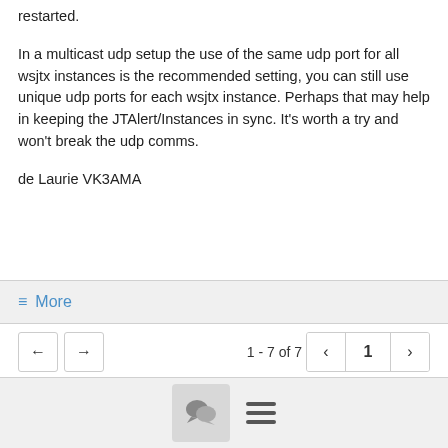restarted.
In a multicast udp setup the use of the same udp port for all wsjtx instances is the recommended setting, you can still use unique udp ports for each wsjtx instance. Perhaps that may help in keeping the JTAlert/Instances in sync. It's worth a try and won't break the udp comms.
de Laurie VK3AMA
≡ More
← →
1 - 7 of 7  < 1 >